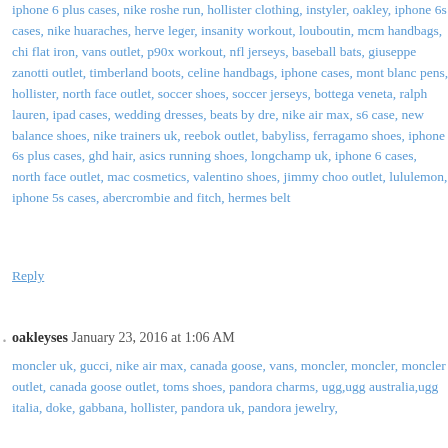iphone 6 plus cases, nike roshe run, hollister clothing, instyler, oakley, iphone 6s cases, nike huaraches, herve leger, insanity workout, louboutin, mcm handbags, chi flat iron, vans outlet, p90x workout, nfl jerseys, baseball bats, giuseppe zanotti outlet, timberland boots, celine handbags, iphone cases, mont blanc pens, hollister, north face outlet, soccer shoes, soccer jerseys, bottega veneta, ralph lauren, ipad cases, wedding dresses, beats by dre, nike air max, s6 case, new balance shoes, nike trainers uk, reebok outlet, babyliss, ferragamo shoes, iphone 6s plus cases, ghd hair, asics running shoes, longchamp uk, iphone 6 cases, north face outlet, mac cosmetics, valentino shoes, jimmy choo outlet, lululemon, iphone 5s cases, abercrombie and fitch, hermes belt
Reply
oakleyses January 23, 2016 at 1:06 AM
moncler uk, gucci, nike air max, canada goose, vans, moncler, moncler, moncler outlet, canada goose outlet, toms shoes, pandora charms, ugg,ugg australia,ugg italia, doke, gabbana, hollister, pandora uk, pandora jewelry,